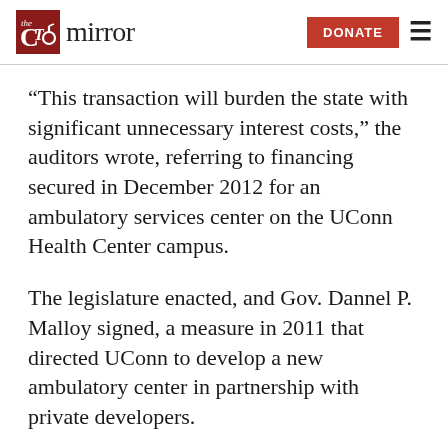The CT Mirror — DONATE
“This transaction will burden the state with significant unnecessary interest costs,” the auditors wrote, referring to financing secured in December 2012 for an ambulatory services center on the UConn Health Center campus.
The legislature enacted, and Gov. Dannel P. Malloy signed, a measure in 2011 that directed UConn to develop a new ambulatory center in partnership with private developers.
But according to the auditors, the university “determined it was not feasible” to finance the